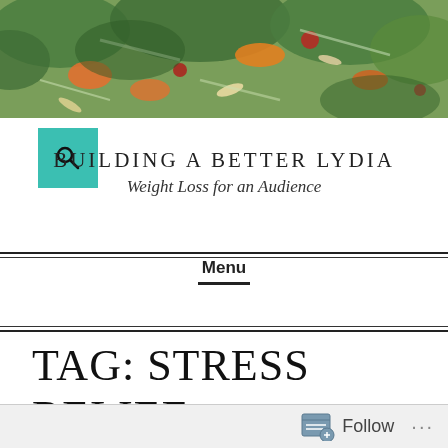[Figure (photo): Close-up photo of a colorful salad with kale, carrots, nuts and vegetables]
[Figure (other): Teal/turquoise square search button with magnifying glass icon]
BUILDING A BETTER LYDIA
Weight Loss for an Audience
Menu
TAG: STRESS RELIEF
Follow ...